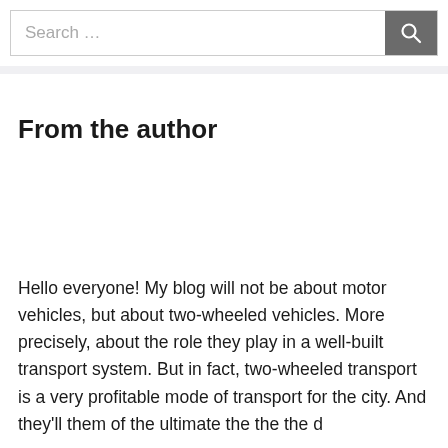Search …
From the author
Hello everyone! My blog will not be about motor vehicles, but about two-wheeled vehicles. More precisely, about the role they play in a well-built transport system. But in fact, two-wheeled transport is a very profitable mode of transport for the city. And they'll them of the ultimate the the the d